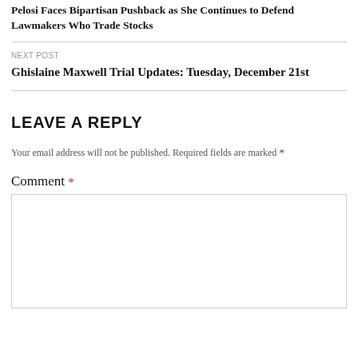Pelosi Faces Bipartisan Pushback as She Continues to Defend Lawmakers Who Trade Stocks
NEXT POST
Ghislaine Maxwell Trial Updates: Tuesday, December 21st
LEAVE A REPLY
Your email address will not be published. Required fields are marked *
Comment *